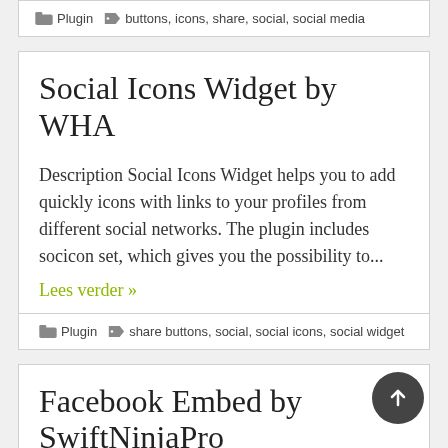Plugin   buttons, icons, share, social, social media
Social Icons Widget by WHA
Description Social Icons Widget helps you to add quickly icons with links to your profiles from different social networks. The plugin includes socicon set, which gives you the possibility to...
Lees verder »
Plugin   share buttons, social, social icons, social widget
Facebook Embed by SwiftNinjaPro